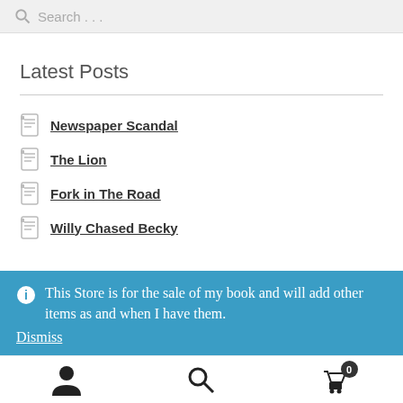Search ...
Latest Posts
Newspaper Scandal
The Lion
Fork in The Road
Willy Chased Becky
This Store is for the sale of my book and will add other items as and when I have them.
Dismiss